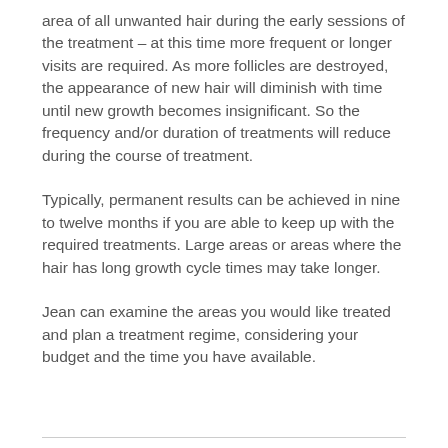area of all unwanted hair during the early sessions of the treatment – at this time more frequent or longer visits are required. As more follicles are destroyed, the appearance of new hair will diminish with time until new growth becomes insignificant. So the frequency and/or duration of treatments will reduce during the course of treatment.
Typically, permanent results can be achieved in nine to twelve months if you are able to keep up with the required treatments. Large areas or areas where the hair has long growth cycle times may take longer.
Jean can examine the areas you would like treated and plan a treatment regime, considering your budget and the time you have available.